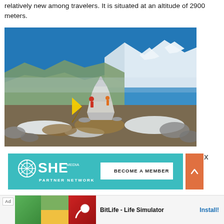relatively new among travelers. It is situated at an altitude of 2900 meters.
[Figure (photo): Mountain summit with a white stone cairn/chorten structure, yellow and red flags, figures on top, panoramic view of snow-capped Himalayan mountains under a clear blue sky.]
[Figure (infographic): SHE Media Partner Network advertisement banner with teal background, SHE logo and 'BECOME A MEMBER' button.]
[Figure (infographic): Mobile advertisement for BitLife - Life Simulator app with install button.]